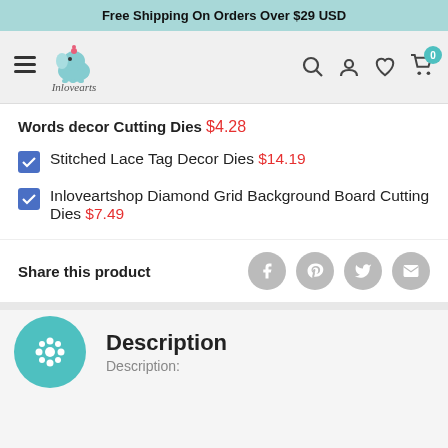Free Shipping On Orders Over $29 USD
[Figure (logo): Inlovearts logo with elephant illustration]
Words decor Cutting Dies $4.28
Stitched Lace Tag Decor Dies $14.19
Inloveartshop Diamond Grid Background Board Cutting Dies $7.49
Share this product
Description
Description: